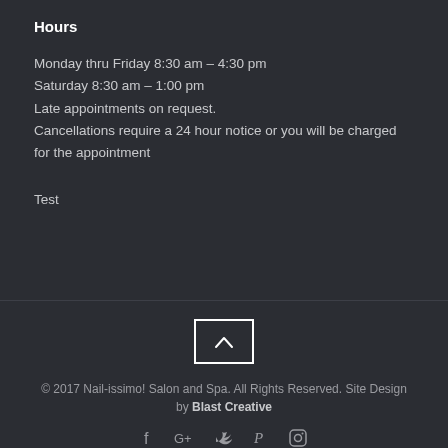Hours
Monday thru Friday 8:30 am – 4:30 pm
Saturday 8:30 am – 1:00 pm
Late appointments on request.
Cancellations require a 24 hour notice or you will be charged for the appointment
Test
[Figure (other): Back to top button: a square with an upward-pointing chevron/arrow inside]
© 2017 Nail-issimo! Salon and Spa. All Rights Reserved. Site Design by Blast Creative
[Figure (other): Social media icons: Facebook, Google+, Twitter, Pinterest, Instagram]